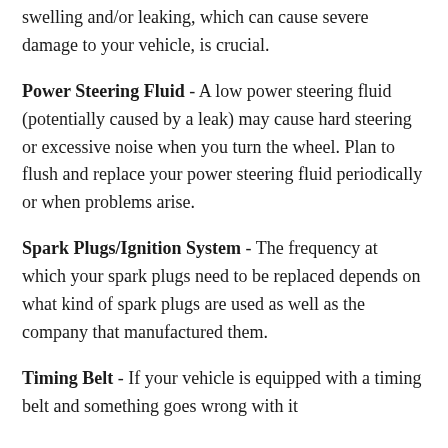swelling and/or leaking, which can cause severe damage to your vehicle, is crucial.
Power Steering Fluid - A low power steering fluid (potentially caused by a leak) may cause hard steering or excessive noise when you turn the wheel. Plan to flush and replace your power steering fluid periodically or when problems arise.
Spark Plugs/Ignition System - The frequency at which your spark plugs need to be replaced depends on what kind of spark plugs are used as well as the company that manufactured them.
Timing Belt - If your vehicle is equipped with a timing belt and something goes wrong with it